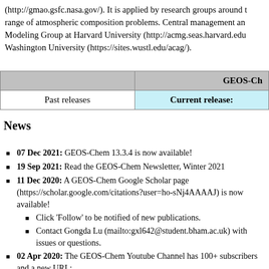(http://gmao.gsfc.nasa.gov/). It is applied by research groups around the range of atmospheric composition problems. Central management and Modeling Group at Harvard University (http://acmg.seas.harvard.edu Washington University (https://sites.wustl.edu/acag/).
|  | GEOS-Ch |
| --- | --- |
| Past releases | Current release: |
News
07 Dec 2021: GEOS-Chem 13.3.4 is now available!
19 Sep 2021: Read the GEOS-Chem Newsletter, Winter 2021
11 Dec 2020: A GEOS-Chem Google Scholar page (https://scholar.google.com/citations?user=ho-sNj4AAAAJ) is now available!
Click 'Follow' to be notified of new publications.
Contact Gongda Lu (mailto:gxl642@student.bham.ac.uk) with issues or questions.
02 Apr 2020: The GEOS-Chem Youtube Channel has 100+ subscribers and a new URL: